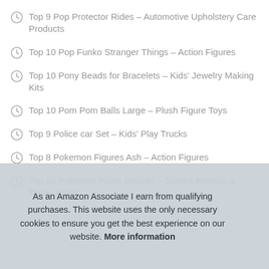Top 9 Pop Protector Rides – Automotive Upholstery Care Products
Top 10 Pop Funko Stranger Things – Action Figures
Top 10 Pony Beads for Bracelets – Kids' Jewelry Making Kits
Top 10 Pom Pom Balls Large – Plush Figure Toys
Top 9 Police car Set – Kids' Play Trucks
Top 8 Pokemon Figures Ash – Action Figures
Top 10 Pokemon Plush Squirtle – Stuffed Animals & Teddy Bears
Top 3 Boinole Pokemon Card GX – Collectible Card Games
As an Amazon Associate I earn from qualifying purchases. This website uses the only necessary cookies to ensure you get the best experience on our website. More information